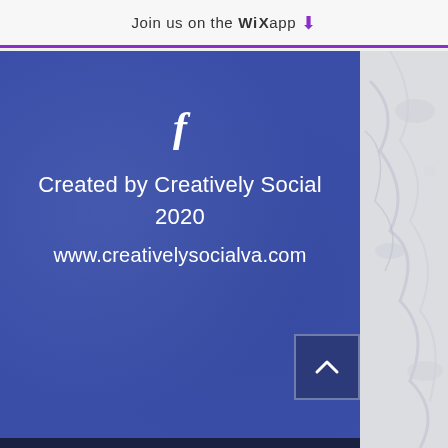Join us on the WiX app ↓
[Figure (screenshot): Website footer screenshot showing Facebook icon, text 'Created by Creatively Social 2020' and 'www.creativelysocialva.com' on a blue textured background, with marble texture on the right side and a back-to-top arrow button]
Created by Creatively Social 2020
www.creativelysocialva.com